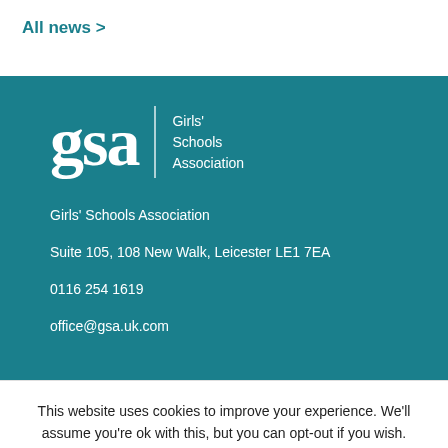All news >
[Figure (logo): GSA Girls' Schools Association logo - white text on teal background with large serif 'gsa' and vertical divider followed by 'Girls' Schools Association' in smaller text]
Girls' Schools Association
Suite 105, 108 New Walk, Leicester LE1 7EA

0116 254 1619
office@gsa.uk.com
This website uses cookies to improve your experience. We'll assume you're ok with this, but you can opt-out if you wish.
Cookie settings   ACCEPT